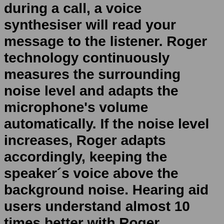during a call, a voice synthesiser will read your message to the listener. Roger technology continuously measures the surrounding noise level and adapts the microphone's volume automatically. If the noise level increases, Roger adapts accordingly, keeping the speaker´s voice above the background noise. Hearing aid users understand almost 10 times better with Roger technology in noise and over distance than people ...Roger Hodgson, the Voice of Supertramp, with his Hit "Dreamer" live in Vienna at the Donauinselfest.Roger Hodgson - Dreamer [Live], Produktion: HEY-U Mediag...Roger technology continuously measures the surrounding noise level and adapts the microphone's volume automatically. If the noise level increases, Roger adapts accordingly, keeping the speaker´s voice above the background noise. Hearing aid users understand almost 10 times better with Roger technology in noise and over distance than people ... arc lighting 21131xa